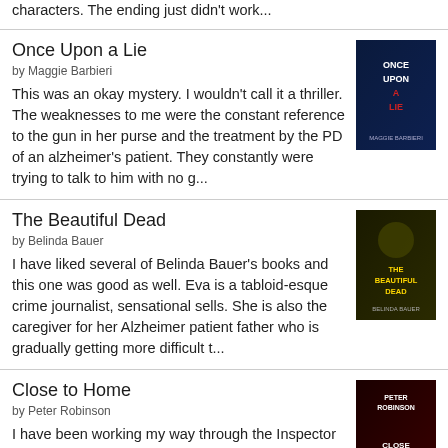characters. The ending just didn't work...
Once Upon a Lie
by Maggie Barbieri
This was an okay mystery. I wouldn't call it a thriller. The weaknesses to me were the constant reference to the gun in her purse and the treatment by the PD of an alzheimer's patient. They constantly were trying to talk to him with no g...
[Figure (photo): Book cover of Once Upon a Lie]
The Beautiful Dead
by Belinda Bauer
I have liked several of Belinda Bauer's books and this one was good as well. Eva is a tabloid-esque crime journalist, sensational sells. She is also the caregiver for her Alzheimer patient father who is gradually getting more difficult t...
[Figure (photo): Book cover of The Beautiful Dead]
Close to Home
by Peter Robinson
I have been working my way through the Inspector Banks series and am amazed to find that it seems to get better as I move along. Sometimes when reading a longer series, the story lines begin to get formulaic or stale, but that is not the...
[Figure (photo): Book cover of Close to Home]